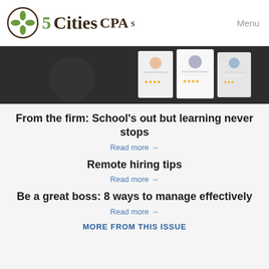[Figure (logo): 5 Cities CPAs logo with circular green leaf emblem]
Menu
[Figure (photo): Dark background with three profile/resume cards showing avatars with star ratings]
From the firm: School's out but learning never stops
Read more →
Remote hiring tips
Read more →
Be a great boss: 8 ways to manage effectively
Read more →
MORE FROM THIS ISSUE